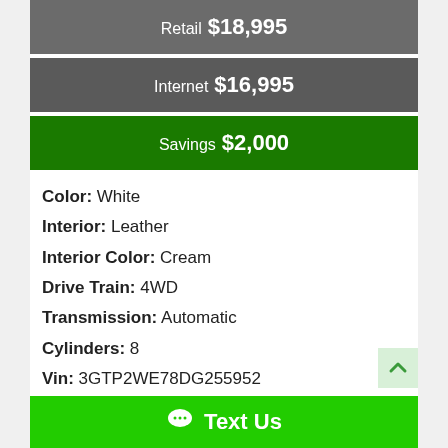Retail $18,995
Internet $16,995
Savings $2,000
Color: White
Interior: Leather
Interior Color: Cream
Drive Train: 4WD
Transmission: Automatic
Cylinders: 8
Vin: 3GTP2WE78DG255952
Engine: 5.3L V8
Mileage: 174,284
Text Us